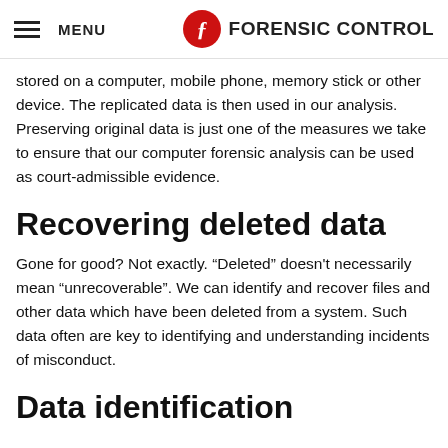MENU | FORENSIC CONTROL
stored on a computer, mobile phone, memory stick or other device. The replicated data is then used in our analysis. Preserving original data is just one of the measures we take to ensure that our computer forensic analysis can be used as court-admissible evidence.
Recovering deleted data
Gone for good? Not exactly. “Deleted” doesn't necessarily mean “unrecoverable”. We can identify and recover files and other data which have been deleted from a system. Such data often are key to identifying and understanding incidents of misconduct.
Data identification